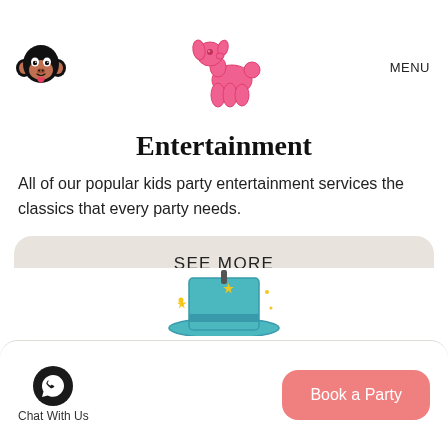MENU
[Figure (illustration): Pink balloon dog illustration in center header area]
Entertainment
All of our popular kids party entertainment services the classics that every party needs.
SEE MORE
[Figure (illustration): Partial view of a teal/turquoise magic hat with golden stars sparkles]
Chat With Us
Book a Party